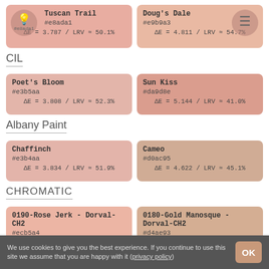[Figure (infographic): Tuscan Trail color swatch #e8ada1, ΔE=3.787 / LRV≈50.1%]
[Figure (infographic): Doug's Dale color swatch #e9b9a3, ΔE=4.811 / LRV≈54.7%]
CIL
[Figure (infographic): Poet's Bloom color swatch #e3b5aa, ΔE=3.808 / LRV≈52.3%]
[Figure (infographic): Sun Kiss color swatch #da9d8e, ΔE=5.144 / LRV≈41.0%]
Albany Paint
[Figure (infographic): Chaffinch color swatch #e3b4aa, ΔE=3.834 / LRV≈51.9%]
[Figure (infographic): Cameo color swatch #d0ac95, ΔE=4.622 / LRV≈45.1%]
CHROMATIC
[Figure (infographic): 0190-Rose Jerk - Dorval-CH2 color swatch #ecb5a4, ΔE=3.887 / LRV≈53.6%]
[Figure (infographic): 0180-Gold Manosque - Dorval-CH2 color swatch #d4ae93, ΔE=5.126 / LRV≈46.4%]
We use cookies to give you the best experience. If you continue to use this site we assume that you are happy with it (privacy policy)